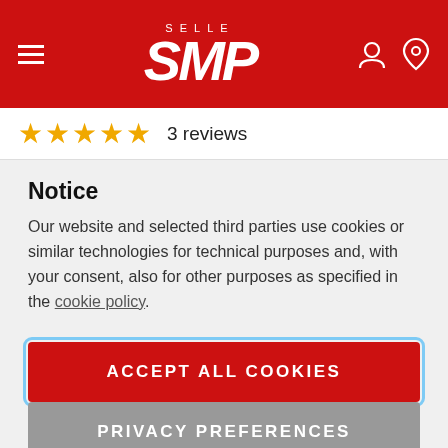[Figure (logo): Selle SMP red header with hamburger menu icon on left, Selle SMP logo in center, user and location icons on right]
★★★★★  3 reviews
Notice
Our website and selected third parties use cookies or similar technologies for technical purposes and, with your consent, also for other purposes as specified in the cookie policy.
ACCEPT ALL COOKIES
PRIVACY PREFERENCES